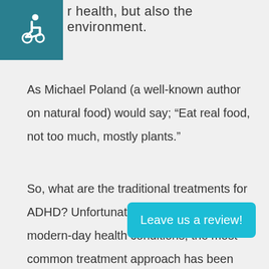[Figure (logo): Wheelchair accessibility icon — white figure in wheelchair on teal/dark cyan background square]
r health, but also the environment.
As Michael Poland (a well-known author on natural food) would say; “Eat real food, not too much, mostly plants.”
So, what are the traditional treatments for ADHD? Unfortunately, as with many modern-day health conditions, the most common treatment approach has been medication. Specifically, Class 2 psychotropic drugs have been
Leave us a review!
symptoms of attention deficit hyperactivity disorder.